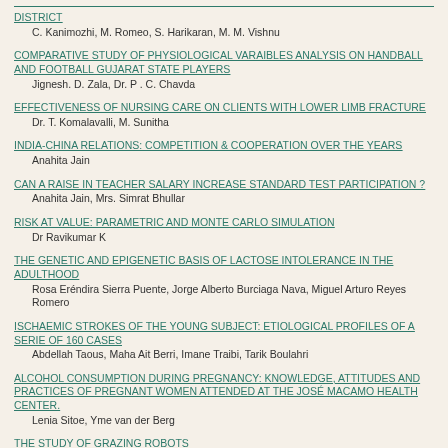DISTRICT
C. Kanimozhi, M. Romeo, S. Harikaran, M. M. Vishnu
COMPARATIVE STUDY OF PHYSIOLOGICAL VARAIBLES ANALYSIS ON HANDBALL AND FOOTBALL GUJARAT STATE PLAYERS
Jignesh. D. Zala, Dr. P . C. Chavda
EFFECTIVENESS OF NURSING CARE ON CLIENTS WITH LOWER LIMB FRACTURE
Dr. T. Komalavalli, M. Sunitha
INDIA-CHINA RELATIONS: COMPETITION & COOPERATION OVER THE YEARS
Anahita Jain
CAN A RAISE IN TEACHER SALARY INCREASE STANDARD TEST PARTICIPATION ?
Anahita Jain, Mrs. Simrat Bhullar
RISK AT VALUE: PARAMETRIC AND MONTE CARLO SIMULATION
Dr Ravikumar K
THE GENETIC AND EPIGENETIC BASIS OF LACTOSE INTOLERANCE IN THE ADULTHOOD
Rosa Eréndira Sierra Puente, Jorge Alberto Burciaga Nava, Miguel Arturo Reyes Romero
ISCHAEMIC STROKES OF THE YOUNG SUBJECT: ETIOLOGICAL PROFILES OF A SERIE OF 160 CASES
Abdellah Taous, Maha Ait Berri, Imane Traibi, Tarik Boulahri
ALCOHOL CONSUMPTION DURING PREGNANCY: KNOWLEDGE, ATTITUDES AND PRACTICES OF PREGNANT WOMEN ATTENDED AT THE JOSÉ MACAMO HEALTH CENTER.
Lenia Sitoe, Yme van der Berg
THE STUDY OF GRAZING ROBOTS